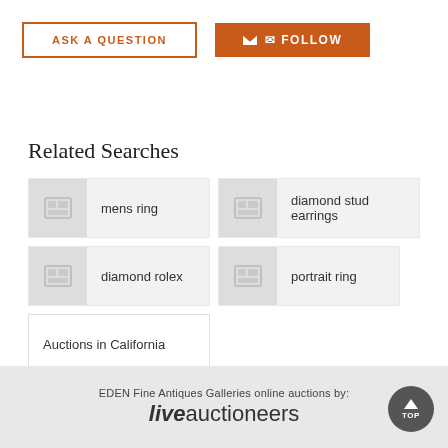ASK A QUESTION
✉ FOLLOW
Related Searches
mens ring
diamond stud earrings
diamond rolex
portrait ring
Auctions in California
EDEN Fine Antiques Galleries online auctions by: liveauctioneers